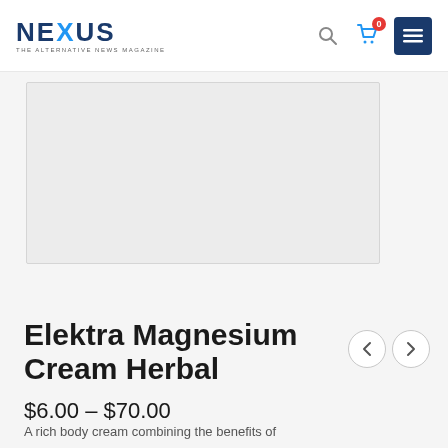NEXUS THE ALTERNATIVE NEWS MAGAZINE
[Figure (photo): Product image area showing a light gray placeholder box for Elektra Magnesium Cream Herbal product image]
Elektra Magnesium Cream Herbal
$6.00 – $70.00
< >